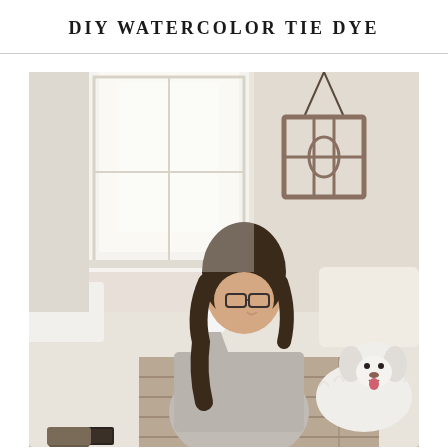DIY WATERCOLOR TIE DYE
[Figure (photo): A young woman with long wavy brown hair and glasses sits on a couch or daybed near a bright window, drinking from a white cup. She wears a grey long-sleeve top and plaid pajama pants. A fluffy white dog sits beside her. A decorative wooden framed mirror hangs on the wall behind her. The scene is cozy and softly lit.]